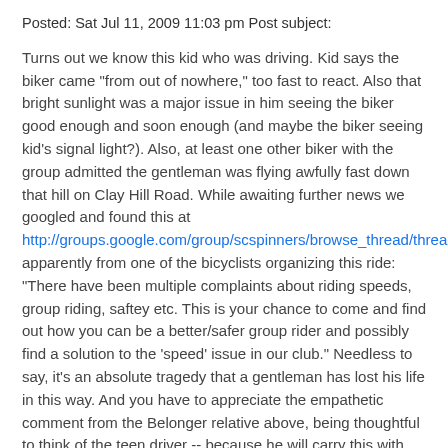Posted: Sat Jul 11, 2009 11:03 pm Post subject:
Turns out we know this kid who was driving. Kid says the biker came "from out of nowhere," too fast to react. Also that bright sunlight was a major issue in him seeing the biker good enough and soon enough (and maybe the biker seeing kid's signal light?). Also, at least one other biker with the group admitted the gentleman was flying awfully fast down that hill on Clay Hill Road. While awaiting further news we googled and found this at http://groups.google.com/group/scspinners/browse_thread/thread/54baa4faeb5177f8/9b1f452282869f60#9b1f452282869f60 apparently from one of the bicyclists organizing this ride: "There have been multiple complaints about riding speeds, group riding, saftey etc. This is your chance to come and find out how you can be a better/safer group rider and possibly find a solution to the 'speed' issue in our club." Needless to say, it's an absolute tragedy that a gentleman has lost his life in this way. And you have to appreciate the empathetic comment from the Belonger relative above, being thoughtful to think of the teen driver -- because he will carry this with him for the rest of his life, forever changed. Just so sad, all